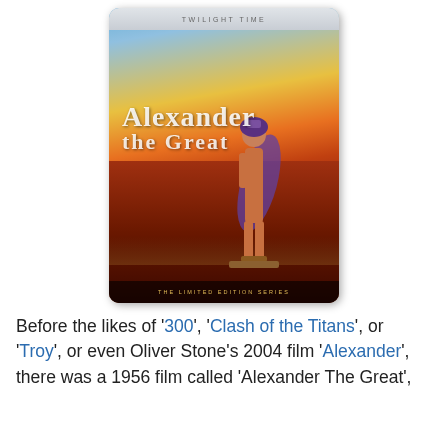[Figure (photo): DVD/Blu-ray cover for 'Alexander The Great' (1956), Twilight Time Limited Edition Series. A figure in ancient warrior costume stands on a pedestal against a dramatic orange and blue sunset sky. The title 'Alexander The Great' is displayed in large serif letters on the cover.]
Before the likes of '300', 'Clash of the Titans', or 'Troy', or even Oliver Stone's 2004 film 'Alexander', there was a 1956 film called 'Alexander The Great',